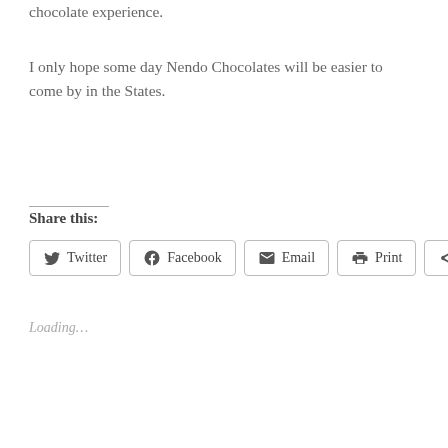chocolate experience.
I only hope some day Nendo Chocolates will be easier to come by in the States.
Share this:
Loading...